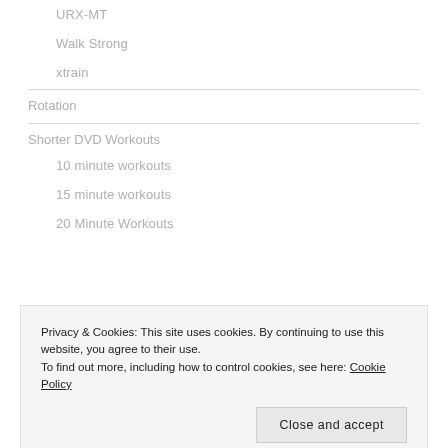URX-MT
Walk Strong
xtrain
Rotation
Shorter DVD Workouts
10 minute workouts
15 minute workouts
20 Minute Workouts
Privacy & Cookies: This site uses cookies. By continuing to use this website, you agree to their use.
To find out more, including how to control cookies, see here: Cookie Policy
Close and accept
BeFit